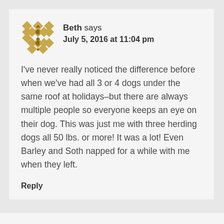Beth says
July 5, 2016 at 11:04 pm
I've never really noticed the difference before when we've had all 3 or 4 dogs under the same roof at holidays–but there are always multiple people so everyone keeps an eye on their dog. This was just me with three herding dogs all 50 lbs. or more! It was a lot! Even Barley and Soth napped for a while with me when they left.
Reply